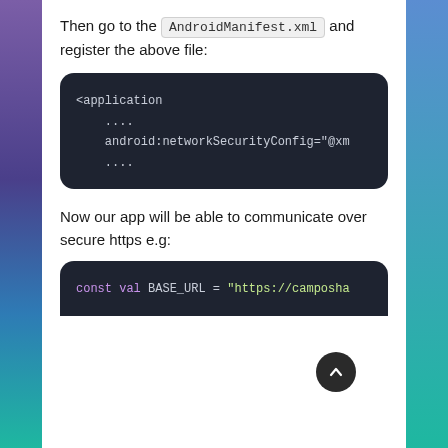Then go to the AndroidManifest.xml and register the above file:
[Figure (screenshot): Dark code block showing XML: <application
    ....
    android:networkSecurityConfig="@xm
    ....]
Now our app will be able to communicate over secure https e.g:
[Figure (screenshot): Dark code block (partial) showing: const val BASE_URL = "https://camposha]